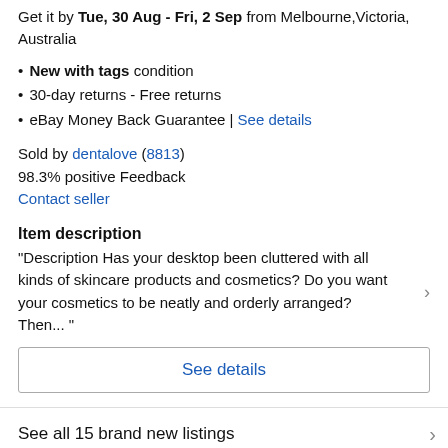Get it by Tue, 30 Aug - Fri, 2 Sep from Melbourne,Victoria, Australia
New with tags condition
30-day returns - Free returns
eBay Money Back Guarantee | See details
Sold by dentalove (8813)
98.3% positive Feedback
Contact seller
Item description
“Description Has your desktop been cluttered with all kinds of skincare products and cosmetics? Do you want your cosmetics to be neatly and orderly arranged? Then... ”
See details
See all 15 brand new listings
All listings for this product